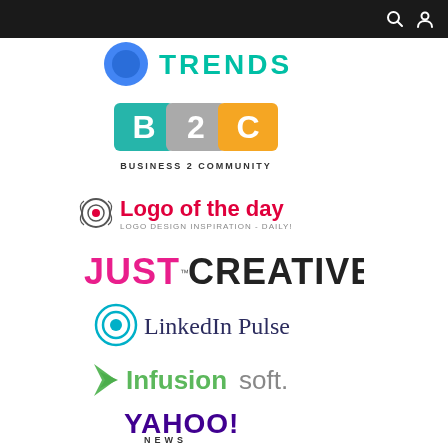navigation bar with search and user icons
[Figure (logo): Google Trends logo - partial, blue circle with TRENDS text in teal]
[Figure (logo): Business 2 Community logo - puzzle piece style B2C with teal, grey, orange colors. Text: BUSINESS 2 COMMUNITY]
[Figure (logo): Logo of the day - red target icon with laurel wreath, pink text 'Logo of the day', grey subtitle 'LOGO DESIGN INSPIRATION - DAILY!']
[Figure (logo): Just Creative logo - hot pink JUST with TM mark, black CREATIVE text]
[Figure (logo): LinkedIn Pulse logo - teal concentric circle icon with dark text 'LinkedIn Pulse']
[Figure (logo): Infusionsoft logo - green leaf/arrow icon with green bold Infusion and grey soft. text]
[Figure (logo): Yahoo! News logo - purple YAHOO! text with NEWS below in dark letters]
[Figure (logo): Partial logo at bottom, cut off]